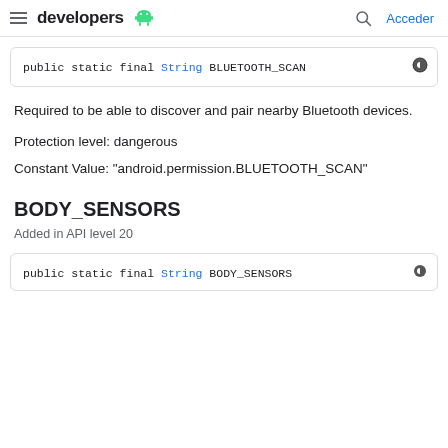developers
public static final String BLUETOOTH_SCAN
Required to be able to discover and pair nearby Bluetooth devices.
Protection level: dangerous
Constant Value: "android.permission.BLUETOOTH_SCAN"
BODY_SENSORS
Added in API level 20
public static final String BODY_SENSORS